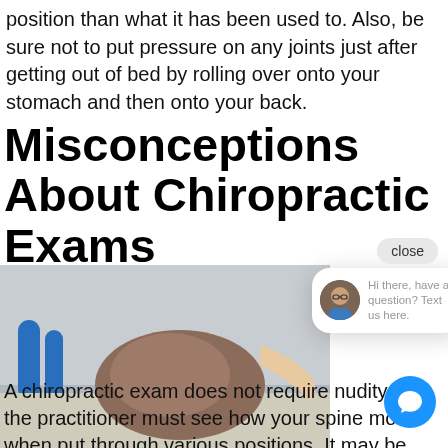position than what it has been used to. Also, be sure not to put pressure on any joints just after getting out of bed by rolling over onto your stomach and then onto your back.
Misconceptions About Chiropractic Exams
[Figure (photo): Photo of a chiropractic treatment session showing a practitioner working on a patient's back, with blue foam rollers visible in the background.]
[Figure (screenshot): Chat widget popup with a circular avatar of a man in a blue shirt and glasses, with text 'Hi there, have a question? Text us here.' and a close button.]
A chiropractic exam does not require nudity, but the practitioner must see how your spine mo when put through various positions. It may be